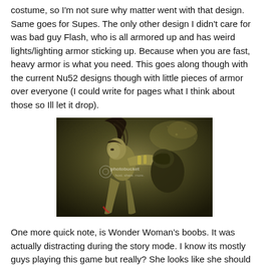costume, so I'm not sure why matter went with that design. Same goes for Supes. The only other design I didn't care for was bad guy Flash, who is all armored up and has weird lights/lighting armor sticking up. Because when you are fast, heavy armor is what you need. This goes along though with the current Nu52 designs though with little pieces of armor over everyone (I could write for pages what I think about those so Ill let it drop).
[Figure (photo): Action scene illustration/digital art showing a female superhero (Wonder Woman) with dark hair in combat, punching an opponent. The image has a dark, olive/sepia color tone with a photobucket watermark visible.]
One more quick note, is Wonder Woman's boobs. It was actually distracting during the story mode. I know its mostly guys playing this game but really? She looks like she should be airbrushed on the side of a van riding a griffin. (Note to self, look into airbrush artists and current van prices).